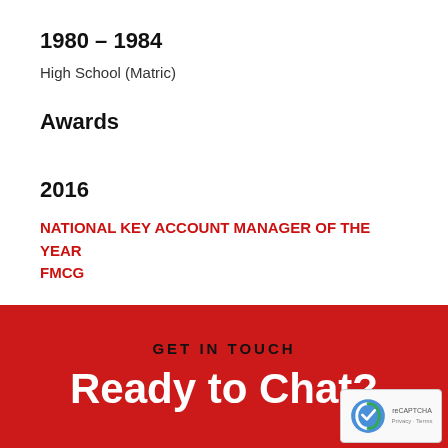1980 – 1984
High School (Matric)
Awards
2016
NATIONAL KEY ACCOUNT MANAGER OF THE YEAR FMCG
GET IN TOUCH
Ready to Chat?